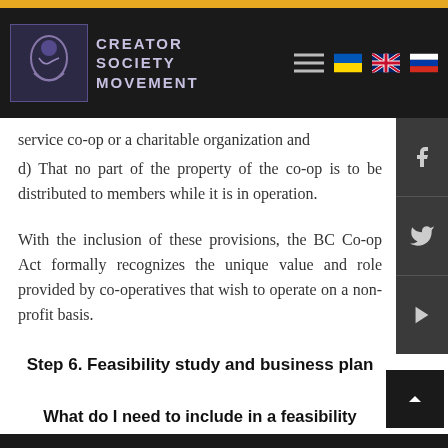[Figure (logo): Creator Society Movement logo with nav bar, hamburger menu, and language flags]
service co-op or a charitable organization and
d) That no part of the property of the co-op is to be distributed to members while it is in operation.
With the inclusion of these provisions, the BC Co-op Act formally recognizes the unique value and role provided by co-operatives that wish to operate on a non-profit basis.
Step 6. Feasibility study and business plan
What do I need to include in a feasibility